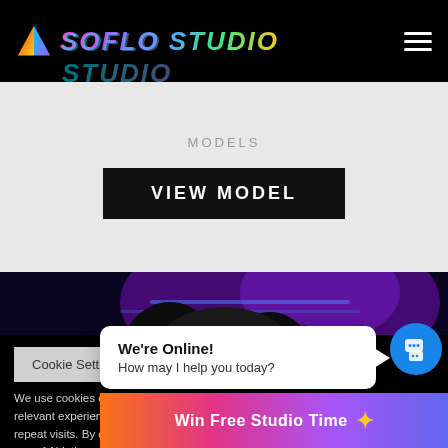SOFLO STUDIO
MODELS
VIEW MODEL
[Figure (photo): Dark photo of a person with long dark hair in a dimly lit studio with purple lighting]
Cookie Settings
We're Online! How may I help you today?
We use cookies on our we... relevant experience by remembering your preferences and repeat visits. By clicking "Accept All", you consent to the use of ALL the cookies. H... Settings" to provide a co...
Win Free Studio Time ✦